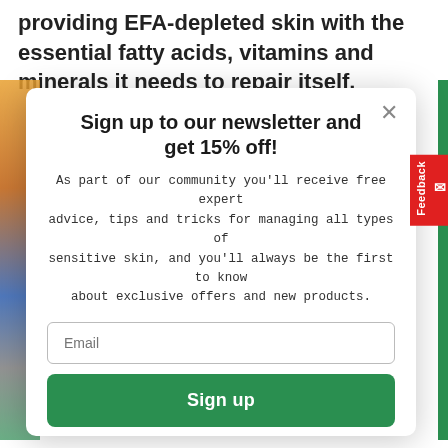providing EFA-depleted skin with the essential fatty acids, vitamins and minerals it needs to repair itself.
Sign up to our newsletter and get 15% off!
As part of our community you'll receive free expert advice, tips and tricks for managing all types of sensitive skin, and you'll always be the first to know about exclusive offers and new products.
Email
Sign up